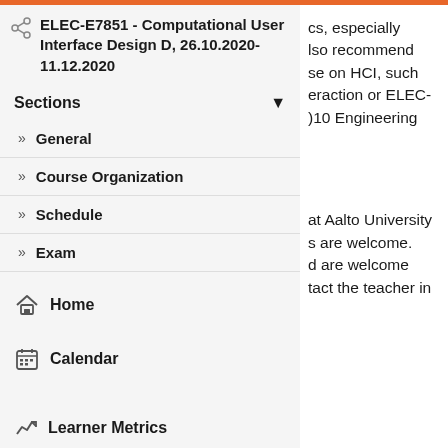ELEC-E7851 - Computational User Interface Design D, 26.10.2020-11.12.2020
Sections
General
Course Organization
Schedule
Exam
cs, especially also recommend se on HCI, such eraction or ELEC-010 Engineering
at Aalto University s are welcome. d are welcome tact the teacher in
Home
Calendar
Learner Metrics